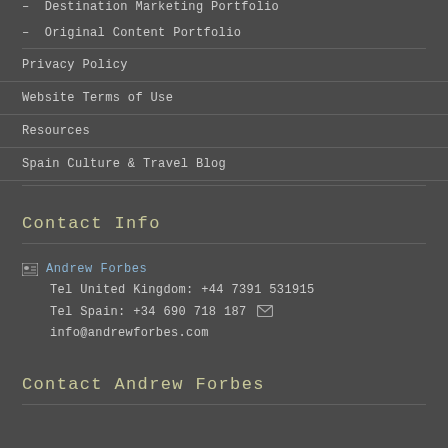– Destination Marketing Portfolio
– Original Content Portfolio
Privacy Policy
Website Terms of Use
Resources
Spain Culture & Travel Blog
Contact Info
Andrew Forbes
Tel United Kingdom: +44 7391 531915
Tel Spain: +34 690 718 187   info@andrewforbes.com
Contact Andrew Forbes